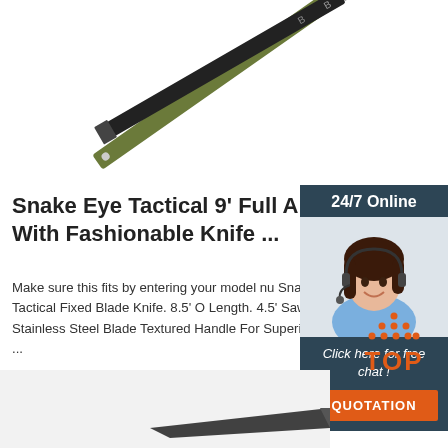[Figure (photo): Two tactical knives photographed from above on white background, one with olive green handle and one with black handle]
Snake Eye Tactical 9' Full Am With Fashionable Knife ...
Make sure this fits by entering your model nu Snake Eye Tactical Fixed Blade Knife. 8.5' O Length. 4.5' Saw-back Stainless Steel Blade Textured Handle For Superior Grip in ...
Get Price
[Figure (infographic): 24/7 Online customer support sidebar ad with photo of woman with headset, 'Click here for free chat!' text and orange QUOTATION button]
[Figure (illustration): Orange TOP button with dot triangle pattern above the letters TOP]
[Figure (photo): Bottom portion of a tactical knife on light gray background]